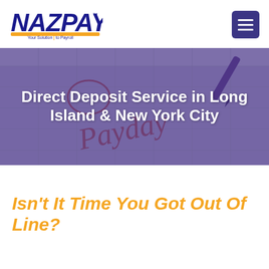[Figure (logo): NAZPAY logo with tagline 'Your Solution to Payroll' in navy blue italic bold text with gold underline bar]
[Figure (illustration): Purple/navy overlay hero banner showing a calendar with 'Payday' written in red cursive script, with the number 15 circled]
Direct Deposit Service in Long Island & New York City
Isn't It Time You Got Out Of Line?